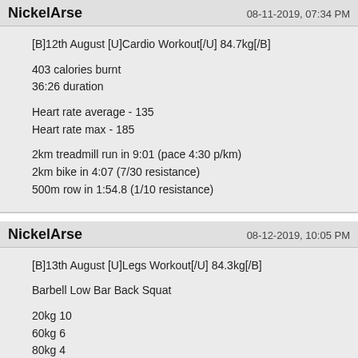NickelArse    08-11-2019, 07:34 PM
[B]12th August [U]Cardio Workout[/U] 84.7kg[/B]

403 calories burnt
36:26 duration

Heart rate average - 135
Heart rate max - 185

2km treadmill run in 9:01 (pace 4:30 p/km)
2km bike in 4:07 (7/30 resistance)
500m row in 1:54.8 (1/10 resistance)
NickelArse    08-12-2019, 10:05 PM
[B]13th August [U]Legs Workout[/U] 84.3kg[/B]

Barbell Low Bar Back Squat

20kg 10
60kg 6
80kg 4